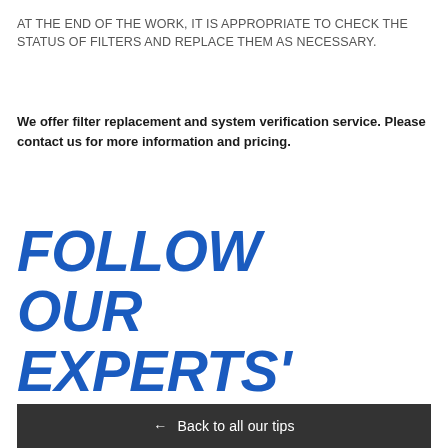AT THE END OF THE WORK, IT IS APPROPRIATE TO CHECK THE STATUS OF FILTERS AND REPLACE THEM AS NECESSARY.
We offer filter replacement and system verification service. Please contact us for more information and pricing.
FOLLOW OUR EXPERTS' ADVICES
← Back to all our tips